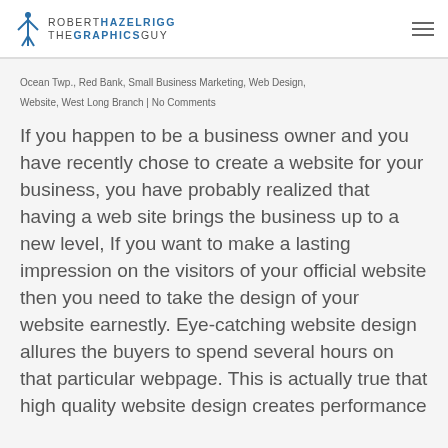ROBERT HAZELRIGG THE GRAPHICS GUY
Ocean Twp., Red Bank, Small Business Marketing, Web Design, Website, West Long Branch | No Comments
If you happen to be a business owner and you have recently chose to create a website for your business, you have probably realized that having a web site brings the business up to a new level, If you want to make a lasting impression on the visitors of your official website then you need to take the design of your website earnestly. Eye-catching website design allures the buyers to spend several hours on that particular webpage. This is actually true that high quality website design creates performance